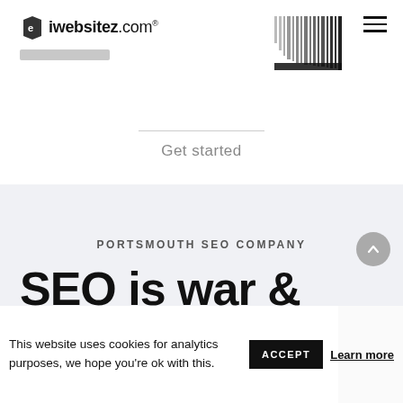[Figure (logo): iwebsitez.com logo with shield/tag icon]
[Figure (other): Decorative barcode-style vertical bars graphic in top right area]
Get started
PORTSMOUTH SEO COMPANY
SEO is war &
This website uses cookies for analytics purposes, we hope you're ok with this.
ACCEPT
Learn more